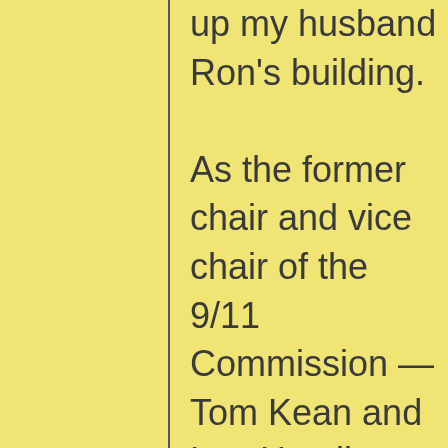up my husband Ron's building. As the former chair and vice chair of the 9/11 Commission — Tom Kean and Lee Hamilton, respectively — have alarmingly